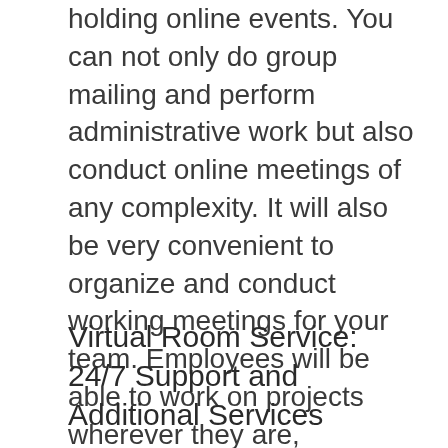holding online events. You can not only do group mailing and perform administrative work but also conduct online meetings of any complexity. It will also be very convenient to organize and conduct working meetings for your team. Employees will be able to work on projects wherever they are, communicate in a secure chat, conduct voting, set goals and monitor progress. All necessary documents for such work will be in one protected place, which is also very convenient.
Virtual Room Service: 24/7 Support and Additional Services